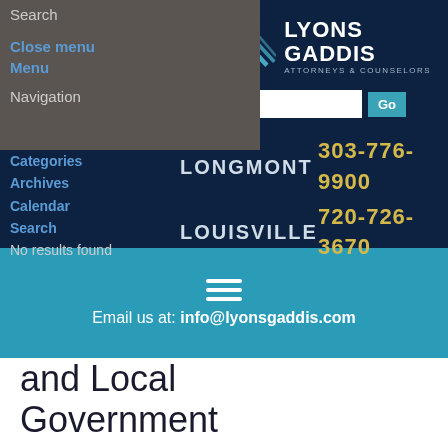Search
Close menu
Menu
Navigation
Categories
Archives
Calendar
Search
No results found
[Figure (logo): Lyons Gaddis Attorneys & Counselors logo with stylized icon]
LONGMONT 303-776-9900
LOUISVILLE 720-726-3670
Email us at: info@lyonsgaddis.com
and Local Government
General Interest, Government
Adele L. Reester
Sunday, 25 September 2016
2367 Hits